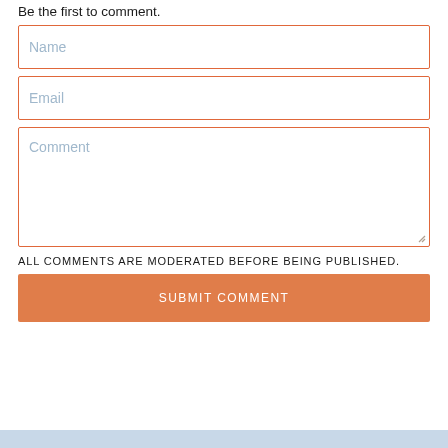Be the first to comment.
Name
Email
Comment
ALL COMMENTS ARE MODERATED BEFORE BEING PUBLISHED.
SUBMIT COMMENT